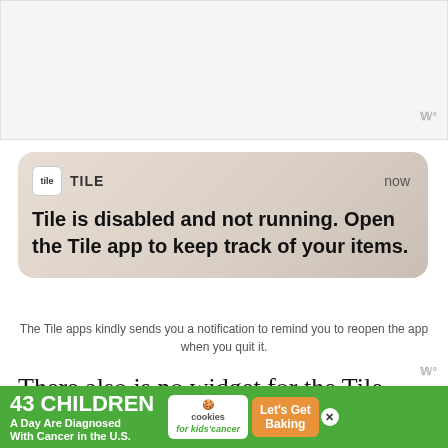[Figure (screenshot): White/light gray rectangular area representing a screenshot or app content placeholder with a small Wavve-style logo at bottom right]
[Figure (screenshot): Tile app push notification card with beige/tan gradient background showing app icon, 'TILE' label, 'now' timestamp, and message: 'Tile is disabled and not running. Open the Tile app to keep track of your items.']
The Tile apps kindly sends you a notification to remind you to reopen the app when you quit it.
There also is no widget for the Tile app, which would be great for finding your items quickly on th
[Figure (infographic): Green advertisement banner: '43 CHILDREN A Day Are Diagnosed With Cancer in the U.S.' with cookies for kids' cancer logo and 'Let's Get Baking' button]